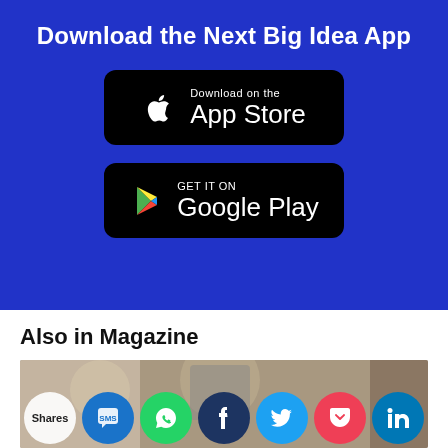Download the Next Big Idea App
[Figure (logo): App Store download badge (black rounded rectangle with Apple logo)]
[Figure (logo): Google Play download badge (black rounded rectangle with Play logo)]
Also in Magazine
[Figure (photo): Photo strip showing a background scene with social media sharing icons: Shares label, SMS/chat icon (blue), WhatsApp (green), Facebook (dark blue), Twitter (light blue), Pocket (red), LinkedIn (light blue)]